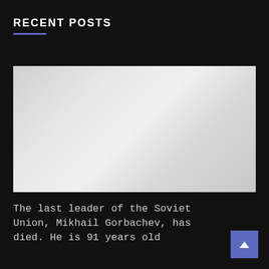RECENT POSTS
[Figure (photo): A light gray placeholder image rectangle with a subtle gradient, representing an article thumbnail.]
The last leader of the Soviet Union, Mikhail Gorbachev, has died. He is 91 years old